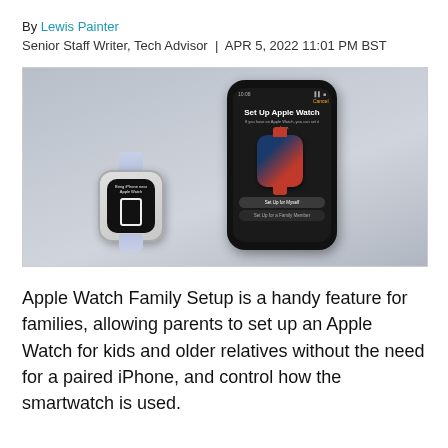By Lewis Painter
Senior Staff Writer, Tech Advisor  |  APR 5, 2022 11:01 PM BST
[Figure (photo): Apple Watch Family Setup screenshot showing an iPhone with 'Set Up Apple Watch' screen and an Apple Watch with lavender braided band in the foreground]
Apple Watch Family Setup is a handy feature for families, allowing parents to set up an Apple Watch for kids and older relatives without the need for a paired iPhone, and control how the smartwatch is used.